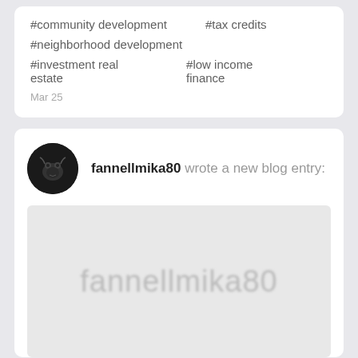#community development   #tax credits
#neighborhood development
#investment real estate   #low income finance
Mar 25
fannellmika80 wrote a new blog entry:
[Figure (photo): Blurred placeholder image showing text 'fannellmika80' in gray on a light gray background]